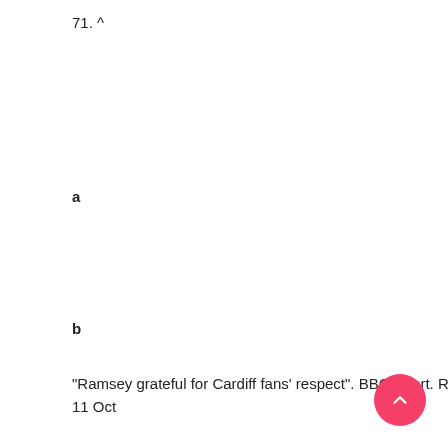71. ^
a
b
"Ramsey grateful for Cardiff fans' respect". BBC Sport. Retrieved 11 Oct